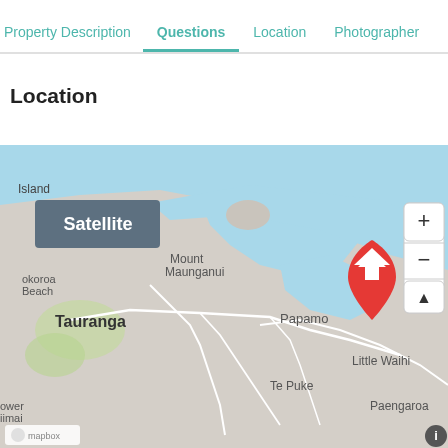Property Description   Questions   Location   Photographer
Location
[Figure (map): Mapbox map showing the Tauranga/Papamoa area in New Zealand with a red home pin marker near Papamoa. Map shows Mount Maunganui, Tauranga, Papamoa, Te Puke, Little Waihi, Paengaroa, Pyes Pa area. Satellite toggle button and zoom controls visible.]